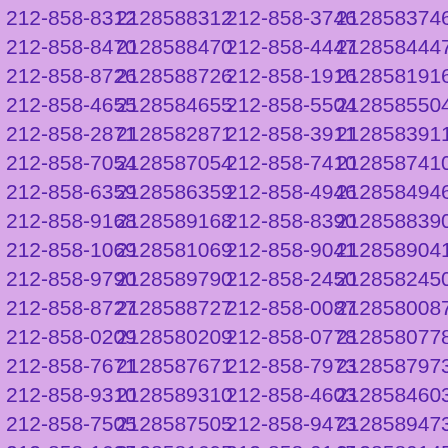212-858-8312 2128588312 212-858-3746 2128583746
212-858-8470 2128588470 212-858-4447 2128584447
212-858-8726 2128588726 212-858-1916 2128581916
212-858-4655 2128584655 212-858-5504 2128585504
212-858-2871 2128582871 212-858-3911 2128583911
212-858-7054 2128587054 212-858-7410 2128587410
212-858-6359 2128586359 212-858-4946 2128584946
212-858-9168 2128589168 212-858-8390 2128588390
212-858-1069 2128581069 212-858-9041 2128589041
212-858-9790 2128589790 212-858-2450 2128582450
212-858-8727 2128588727 212-858-0087 2128580087
212-858-0209 2128580209 212-858-0778 2128580778
212-858-7671 2128587671 212-858-7973 2128587973
212-858-9310 2128589310 212-858-4603 2128584603
212-858-7505 2128587505 212-858-9473 2128589473
212-858-1695 2128581695 212-858-0145 2128580145
212-858-4986 2128584986 212-858-0368 2128580368
212-858-1801 2128581801 212-858-7183 2128587183
212-858-6258 2128586258 212-858-5506 2128585506
212-858-3325 2128583325 212-858-9426 2128589426
212-858-6941 2128586941 212-858-8989 2128589989